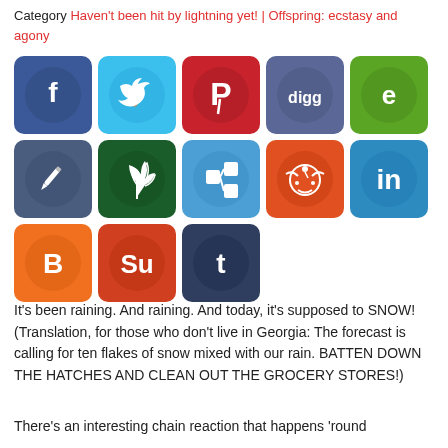Category Haven't been hit by lightning yet! | Offspring: ecstasy and agony
[Figure (infographic): Grid of 13 social media sharing buttons: Facebook (dark blue), Twitter (light blue), Pinterest (red), Digg (slate blue), Evernote (green), Edit/pen (slate blue), Plant/nature (dark green), Share (light blue), Reddit (orange-red), LinkedIn (medium blue), Blogger (orange), StumbleUpon (orange-red), Tumblr (dark slate blue)]
It's been raining. And raining. And today, it's supposed to SNOW! (Translation, for those who don't live in Georgia: The forecast is calling for ten flakes of snow mixed with our rain. BATTEN DOWN THE HATCHES AND CLEAN OUT THE GROCERY STORES!)
There's an interesting chain reaction that happens 'round